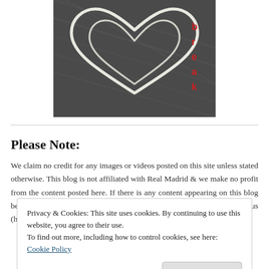[Figure (photo): A photo of a heart shape made from a wire or cord on a dark textured surface, with red letters visible on the right side spelling 'break']
Please Note:
We claim no credit for any images or videos posted on this site unless stated otherwise. This blog is not affiliated with Real Madrid & we make no profit from the content posted here. If there is any content appearing on this blog belonging to you that you do not wish to appear on this site, please email us (hhandshbreak [a t] gmail [d o t] com) and it will be
Privacy & Cookies: This site uses cookies. By continuing to use this website, you agree to their use.
To find out more, including how to control cookies, see here: Cookie Policy
[Close and accept]
Our Manifesto